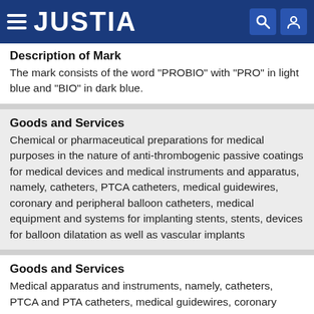JUSTIA
Description of Mark
The mark consists of the word "PROBIO" with "PRO" in light blue and "BIO" in dark blue.
Goods and Services
Chemical or pharmaceutical preparations for medical purposes in the nature of anti-thrombogenic passive coatings for medical devices and medical instruments and apparatus, namely, catheters, PTCA catheters, medical guidewires, coronary and peripheral balloon catheters, medical equipment and systems for implanting stents, stents, devices for balloon dilatation as well as vascular implants
Goods and Services
Medical apparatus and instruments, namely, catheters, PTCA and PTA catheters, medical guidewires, coronary